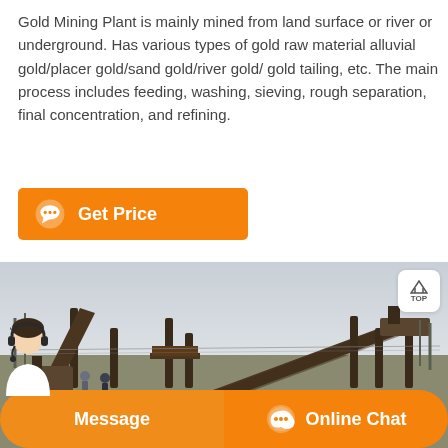Gold Mining Plant is mainly mined from land surface or river or underground. Has various types of gold raw material alluvial gold/placer gold/sand gold/river gold/ gold tailing, etc. The main process includes feeding, washing, sieving, rough separation, final concentration, and refining.
Get Price
[Figure (photo): Outdoor photo of a gold mining plant showing large conveyor belt machinery and equipment at a mine site, with bare trees and overcast sky in the background. A TOP navigation button is visible in the upper right corner.]
Message | Online Chat